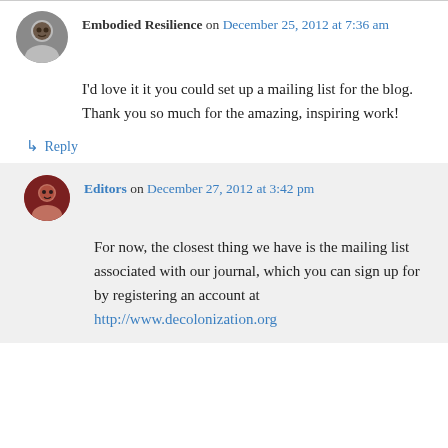Embodied Resilience on December 25, 2012 at 7:36 am
I'd love it it you could set up a mailing list for the blog. Thank you so much for the amazing, inspiring work!
↳ Reply
Editors on December 27, 2012 at 3:42 pm
For now, the closest thing we have is the mailing list associated with our journal, which you can sign up for by registering an account at http://www.decolonization.org